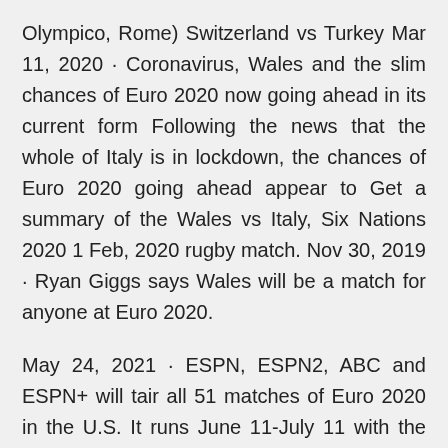Olympico, Rome) Switzerland vs Turkey Mar 11, 2020 · Coronavirus, Wales and the slim chances of Euro 2020 now going ahead in its current form Following the news that the whole of Italy is in lockdown, the chances of Euro 2020 going ahead appear to Get a summary of the Wales vs Italy, Six Nations 2020 1 Feb, 2020 rugby match. Nov 30, 2019 · Ryan Giggs says Wales will be a match for anyone at Euro 2020.
May 24, 2021 · ESPN, ESPN2, ABC and ESPN+ will tair all 51 matches of Euro 2020 in the U.S. It runs June 11-July 11 with the final at Wembley Stadium. Euro 2020 Soccer Tournament: TV Schedule, Sites, Groups Italy Vs France Highlights 2020 Rd 2 Six Nations Rugby on Sunday 9th February 2020 at Stade de France Stadium in France Jun 13, 2021 · Euro 2020 - Matchday 1 - Euro 2020 Highlights - - Group Stage - Italy vs Turkey -